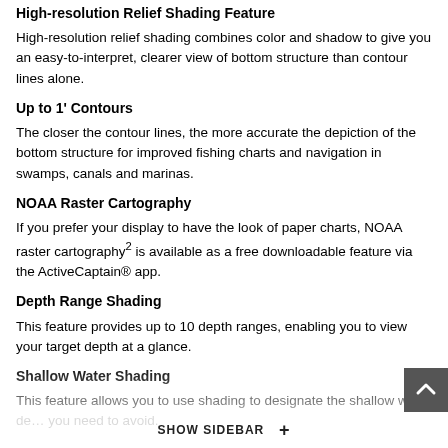High-resolution Relief Shading Feature
High-resolution relief shading combines color and shadow to give you an easy-to-interpret, clearer view of bottom structure than contour lines alone.
Up to 1' Contours
The closer the contour lines, the more accurate the depiction of the bottom structure for improved fishing charts and navigation in swamps, canals and marinas.
NOAA Raster Cartography
If you prefer your display to have the look of paper charts, NOAA raster cartography² is available as a free downloadable feature via the ActiveCaptain® app.
Depth Range Shading
This feature provides up to 10 depth ranges, enabling you to view your target depth at a glance.
Shallow Water Shading
This feature allows you to use shading to designate the shallow water depth you need to avoid.
SHOW SIDEBAR +